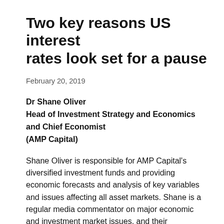Two key reasons US interest rates look set for a pause
February 20, 2019
Dr Shane Oliver
Head of Investment Strategy and Economics and Chief Economist
(AMP Capital)
Shane Oliver is responsible for AMP Capital’s diversified investment funds and providing economic forecasts and analysis of key variables and issues affecting all asset markets. Shane is a regular media commentator on major economic and investment market issues, and their relationship to the investment cycle.
You might remember that late last year markets fell sharply because investors were worried the